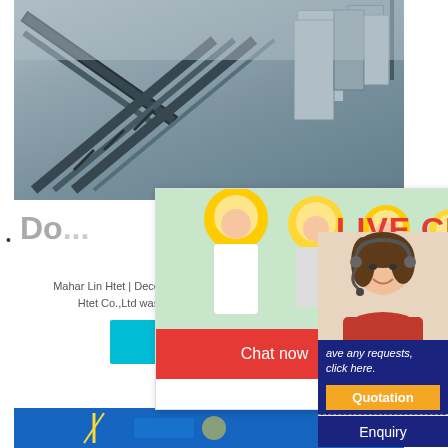[Figure (photo): Industrial site with conveyor belts and silos in background]
Do...
Mahar Lin Htet | Decoration Materials Sales Center, click here.
Htet Co.,Ltd was founded in 2004 as a private trad...
[Figure (screenshot): Live chat popup with workers in hard hats. Text: LIVE CHAT, Click for a Free Consultation. Buttons: Chat now, Chat later.]
[Figure (photo): Customer service representative with headset smiling. Right sidebar with dark blue background showing: ave any requests, click here. Quotation button, Enquiry, limingjlmofen@sina.com]
Chat now
Chat later
CHAT ONLINE
ave any requests, click here.
Quotation
Enquiry
limingjlmofen
@sina.com
[Figure (photo): Bottom strip showing industrial crane/construction scene]